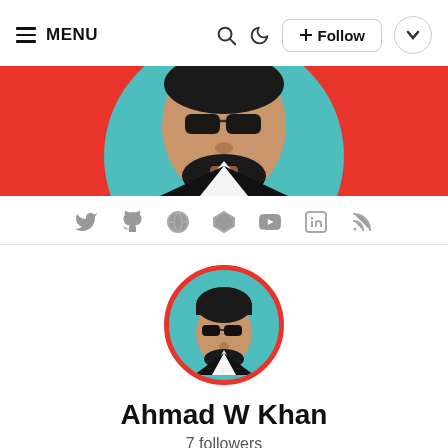MENU
[Figure (illustration): Banner image showing a stylized pop-art illustration of a man with sunglasses and beard on a red and teal background]
[Figure (other): Social media icons row: Twitter, GitHub, globe, location pin, YouTube, LinkedIn, RSS]
[Figure (illustration): Circular profile avatar of Ahmad W Khan — stylized illustration of man with sunglasses on teal background with red circular border]
Ahmad W Khan
7 followers